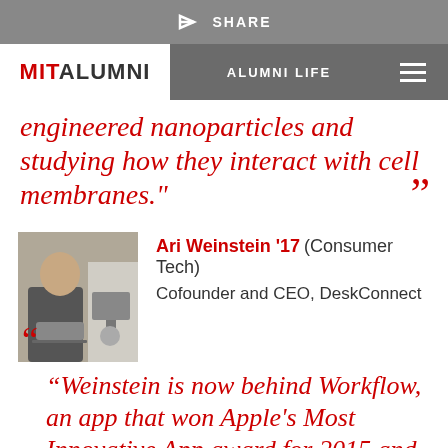SHARE
ALUMNI LIFE
engineered nanoparticles and studying how they interact with cell membranes."
Ari Weinstein '17 (Consumer Tech) Cofounder and CEO, DeskConnect
[Figure (photo): Photo of Ari Weinstein standing indoors holding a laptop, with a computer monitor visible in the background]
“Weinstein is now behind Workflow, an app that won Apple's Most Innovative App award for 2015 and which generates task recipes across